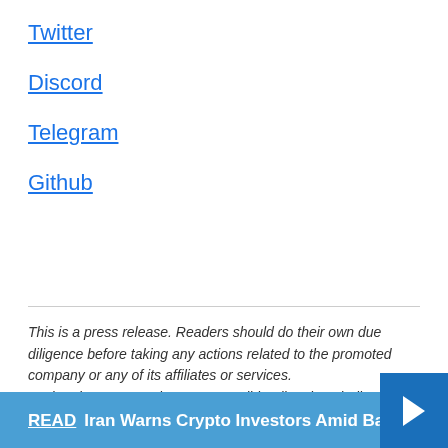Twitter
Discord
Telegram
Github
This is a press release. Readers should do their own due diligence before taking any actions related to the promoted company or any of its affiliates or services. MotleyBloggers.com is not responsible, directly or indirectly, for any damage or loss caused or alleged to be caused by or in connection with the use of or reliance on any content, goods or services mentioned in the press release.
READ  Iran Warns Crypto Investors Amid Ban on Bitcoin Mined Outside Its Borders